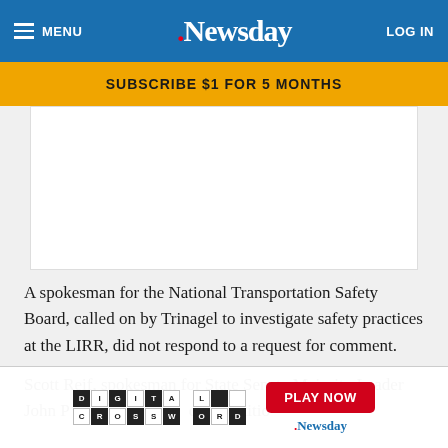MENU | Newsday | LOG IN
SUBSCRIBE $1 FOR 5 MONTHS
[Figure (other): Advertisement placeholder white box]
A spokesman for the National Transportation Safety Board, called on by Trinagel to investigate safety practices at the LIRR, did not respond to a request for comment.
Scott Reif, spokesman for State Senate Majority Leader John [P...] d the petitio[n...]
[Figure (other): Digital Crossword promotion banner with PLAY NOW button and Newsday logo]